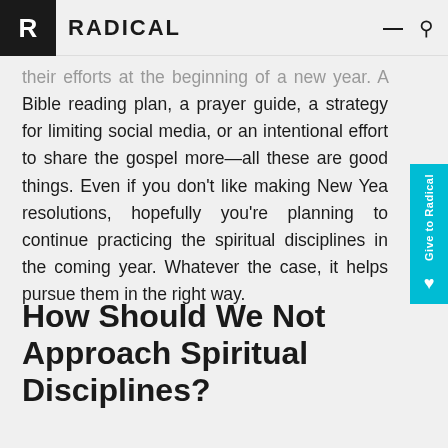RADICAL
their efforts at the beginning of a new year. A Bible reading plan, a prayer guide, a strategy for limiting social media, or an intentional effort to share the gospel more—all these are good things. Even if you don't like making New Year resolutions, hopefully you're planning to continue practicing the spiritual disciplines in the coming year. Whatever the case, it helps pursue them in the right way.
How Should We Not Approach Spiritual Disciplines?